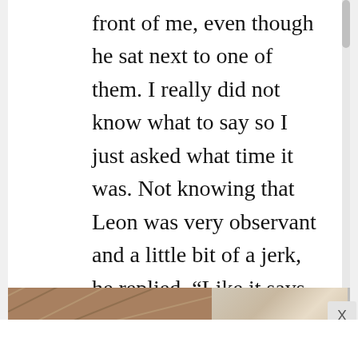front of me, even though he sat next to one of them. I really did not know what to say so I just asked what time it was. Not knowing that Leon was very observant and a little bit of a jerk, he replied, “Like it says, on your phone, in your hand.” So much for small talk! Even though it magical, we be
[Figure (photo): Partial photo showing textured fabric/weave on the left side and a person's torso wearing a white top with a necklace on the right side, cropped at bottom of page.]